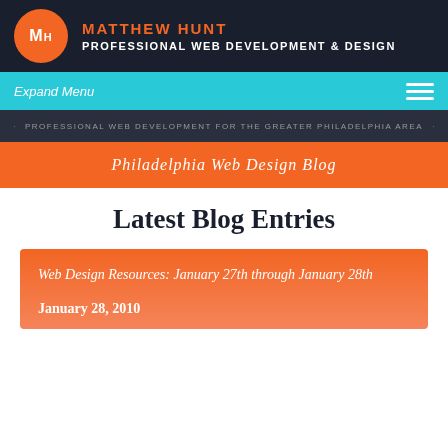MATTHEW HUNT PROFESSIONAL WEB DEVELOPMENT & DESIGN
Expand Menu
PROFESSIONAL WEB DEVELOPMENT FOR THE GREATER PHILADELPHIA AREA
Philadelphia Web Design Blog
Latest Blog Entries
Web Design Resources: January 27th through January 28th
January 28, 2010